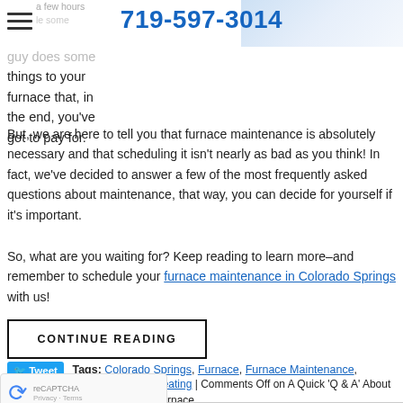719-597-3014
things to your furnace that, in the end, you've got to pay for.
But, we are here to tell you that furnace maintenance is absolutely necessary and that scheduling it isn't nearly as bad as you think! In fact, we've decided to answer a few of the most frequently asked questions about maintenance, that way, you can decide for yourself if it's important.
So, what are you waiting for? Keep reading to learn more–and remember to schedule your furnace maintenance in Colorado Springs with us!
CONTINUE READING
Tags: Colorado Springs, Furnace, Furnace Maintenance, Heating Maintenance
Heating | Comments Off on A Quick 'Q & A' About Furnace Maintenance